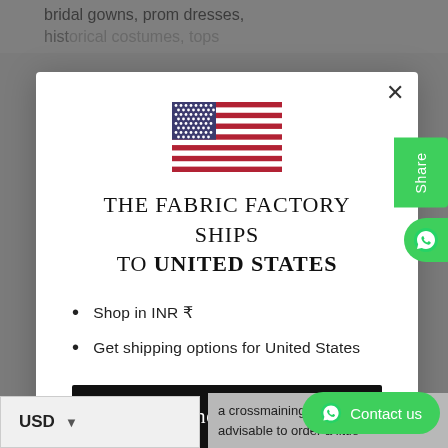bridal gowns, prom dresses, historical costumes, tops
[Figure (illustration): US flag icon inside modal dialog]
THE FABRIC FACTORY SHIPS TO UNITED STATES
Shop in INR ₹
Get shipping options for United States
Shop now
Change shipping country
USD
a Crossmaining advisable to order a little
Contact us